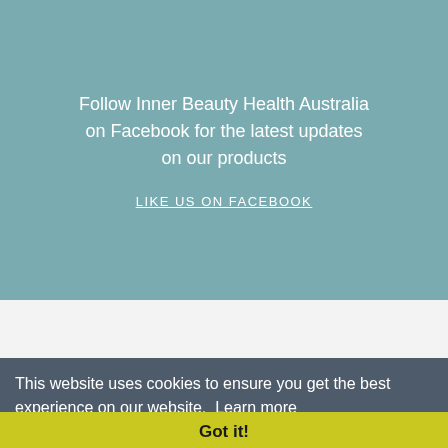Follow Inner Beauty Health Australia on Facebook for the latest updates on our products
LIKE US ON FACEBOOK
This website uses cookies to ensure you get the best experience on our website.  Learn more
Got it!